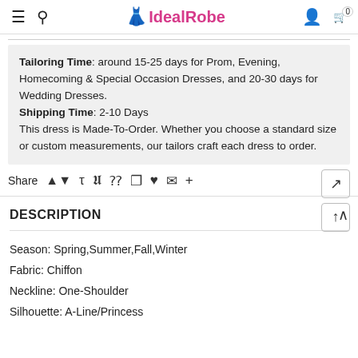IdealRobe
Tailoring Time: around 15-25 days for Prom, Evening, Homecoming & Special Occasion Dresses, and 20-30 days for Wedding Dresses. Shipping Time: 2-10 Days This dress is Made-To-Order. Whether you choose a standard size or custom measurements, our tailors craft each dress to order.
Share
DESCRIPTION
Season: Spring,Summer,Fall,Winter
Fabric: Chiffon
Neckline: One-Shoulder
Silhouette: A-Line/Princess